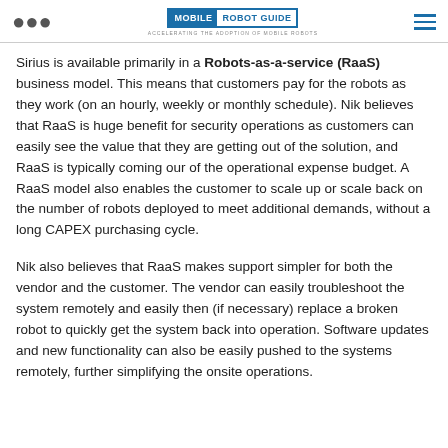MOBILE ROBOT GUIDE — ACCELERATING THE ADOPTION OF MOBILE ROBOTS
Sirius is available primarily in a Robots-as-a-service (RaaS) business model. This means that customers pay for the robots as they work (on an hourly, weekly or monthly schedule). Nik believes that RaaS is huge benefit for security operations as customers can easily see the value that they are getting out of the solution, and RaaS is typically coming our of the operational expense budget. A RaaS model also enables the customer to scale up or scale back on the number of robots deployed to meet additional demands, without a long CAPEX purchasing cycle.
Nik also believes that RaaS makes support simpler for both the vendor and the customer. The vendor can easily troubleshoot the system remotely and easily then (if necessary) replace a broken robot to quickly get the system back into operation. Software updates and new functionality can also be easily pushed to the systems remotely, further simplifying the onsite operations.